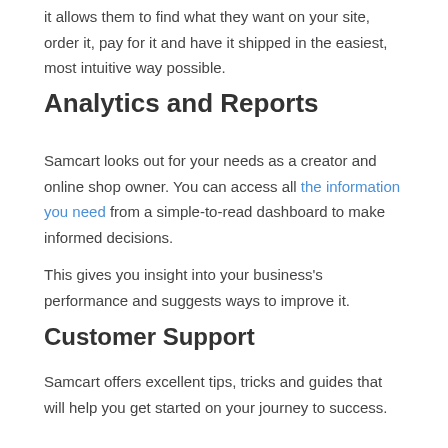it allows them to find what they want on your site, order it, pay for it and have it shipped in the easiest, most intuitive way possible.
Analytics and Reports
Samcart looks out for your needs as a creator and online shop owner. You can access all the information you need from a simple-to-read dashboard to make informed decisions.
This gives you insight into your business's performance and suggests ways to improve it.
Customer Support
Samcart offers excellent tips, tricks and guides that will help you get started on your journey to success.
You can also reach them via email, live chat or Facebook. They are always available to assist you in optimizing your software.